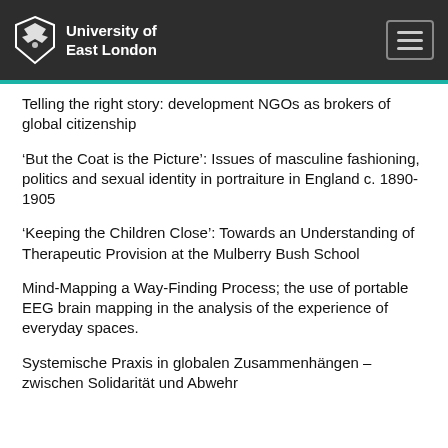University of East London
Telling the right story: development NGOs as brokers of global citizenship
‘But the Coat is the Picture’: Issues of masculine fashioning, politics and sexual identity in portraiture in England c. 1890-1905
‘Keeping the Children Close’: Towards an Understanding of Therapeutic Provision at the Mulberry Bush School
Mind-Mapping a Way-Finding Process; the use of portable EEG brain mapping in the analysis of the experience of everyday spaces.
Systemische Praxis in globalen Zusammenhängen – zwischen Solidarität und Abwehr